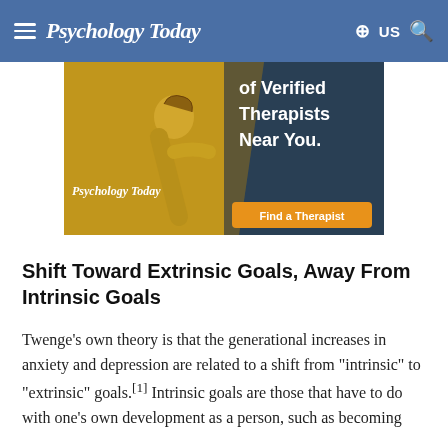Psychology Today | US
[Figure (illustration): Psychology Today advertisement banner showing a woman in a yellow jacket running outdoors, with text 'of Verified Therapists Near You.' and a 'Find a Therapist' button, and the Psychology Today logo.]
Shift Toward Extrinsic Goals, Away From Intrinsic Goals
Twenge's own theory is that the generational increases in anxiety and depression are related to a shift from "intrinsic" to "extrinsic" goals.[1] Intrinsic goals are those that have to do with one's own development as a person, such as becoming